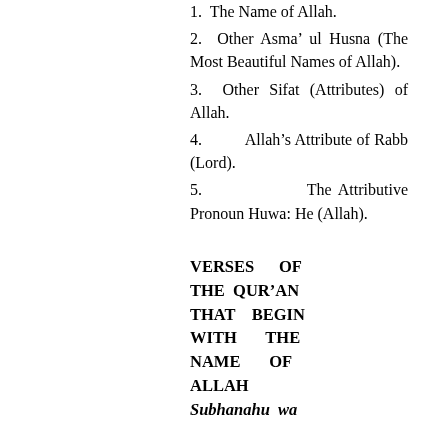1. The Name of Allah.
2. Other Asma' ul Husna (The Most Beautiful Names of Allah).
3. Other Sifat (Attributes) of Allah.
4. Allah's Attribute of Rabb (Lord).
5. The Attributive Pronoun Huwa: He (Allah).
VERSES OF THE QUR'AN THAT BEGIN WITH THE NAME OF ALLAH Subhanahu wa
Subhanahu wa